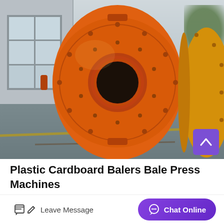[Figure (photo): Large orange ball mill industrial grinding machine photographed outdoors in front of a warehouse/factory building. A second orange/yellow cylindrical mill is visible on the right side. The equipment sits on a concrete floor with railway tracks visible. Background shows grey factory building with windows.]
Plastic Cardboard Balers Bale Press Machines
Crushers 20 litre drumcrusher 205 litre drumcrusher bottle buster